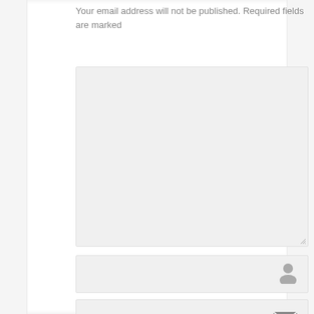Your email address will not be published. Required fields are marked
[Figure (screenshot): Comment form textarea (large empty input field with resize handle)]
[Figure (screenshot): Name input field with person/user icon on the right]
[Figure (screenshot): Email input field with envelope icon on the right]